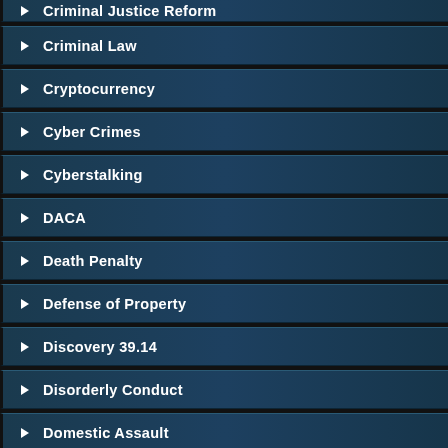Criminal Justice Reform
Criminal Law
Cryptocurrency
Cyber Crimes
Cyberstalking
DACA
Death Penalty
Defense of Property
Discovery 39.14
Disorderly Conduct
Domestic Assault
Domestic Terrorism